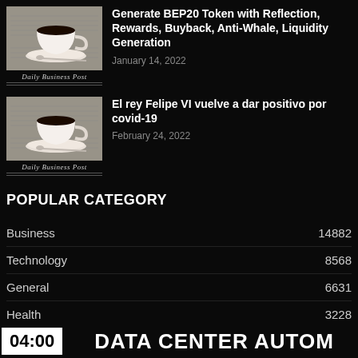[Figure (photo): Coffee cup on saucer with newspaper background, Daily Business Post branding below]
Generate BEP20 Token with Reflection, Rewards, Buyback, Anti-Whale, Liquidity Generation
January 14, 2022
[Figure (photo): Coffee cup on saucer with newspaper background, Daily Business Post branding below]
El rey Felipe VI vuelve a dar positivo por covid-19
February 24, 2022
POPULAR CATEGORY
| Category | Count |
| --- | --- |
| Business | 14882 |
| Technology | 8568 |
| General | 6631 |
| Health | 3228 |
| Lifestyle | 2464 |
04:00  DATA CENTER AUTOM